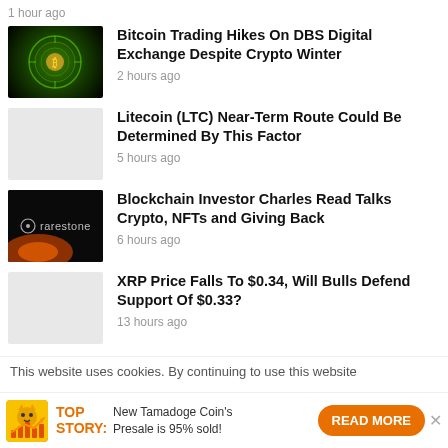1 hour ago
Bitcoin Trading Hikes On DBS Digital Exchange Despite Crypto Winter
2 hours ago
[Figure (photo): Bitcoin glowing green circuit logo on dark background]
Litecoin (LTC) Near-Term Route Could Be Determined By This Factor
5 hours ago
[Figure (photo): Light gray placeholder thumbnail]
Blockchain Investor Charles Read Talks Crypto, NFTs and Giving Back
6 hours ago
[Figure (photo): Rarestone logo on dark background with orange light streak]
XRP Price Falls To $0.34, Will Bulls Defend Support Of $0.33?
13 hours ago
[Figure (photo): Light gray placeholder thumbnail for XRP article]
This website uses cookies. By continuing to use this website
TOP STORY: New Tamadoge Coin's Presale is 95% sold!